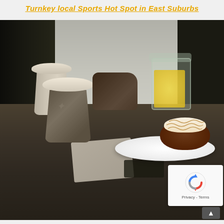Turnkey local Sports Hot Spot in East Suburbs
[Figure (photo): Photo of a cafe table scene with two takeaway coffee cups with white lids, a muffin/cake, a glass jar with yellow contents (possibly pineapple chunks), and a white plate with a chocolate drizzled cupcake/donut. Background shows a dark curtain or door on the left and a gray wall. A reCAPTCHA widget and scroll-up button are overlaid in the bottom-right corner.]